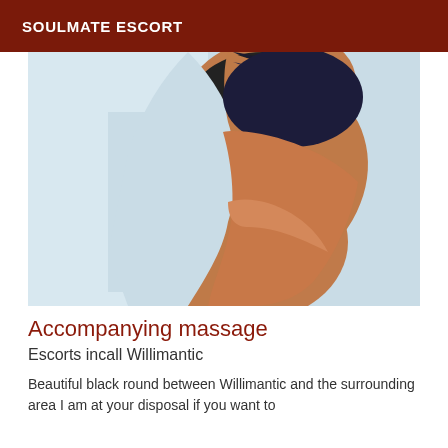SOULMATE ESCORT
[Figure (photo): Photo of a person posing, wearing dark clothing, with light blue background]
Accompanying massage
Escorts incall Willimantic
Beautiful black round between Willimantic and the surrounding area I am at your disposal if you want to